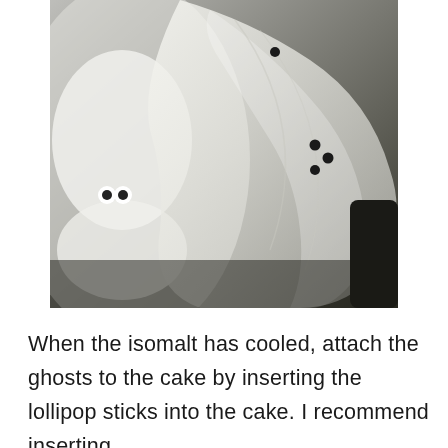[Figure (photo): Close-up photo of ghost-shaped decorations made from white translucent material (isomalt sugar) with small black dot eyes, placed against a dark grey background. One ghost is in the foreground wrapped in a sheer white veil-like material, another is visible in the background on the left with two googly eyes.]
When the isomalt has cooled, attach the ghosts to the cake by inserting the lollipop sticks into the cake. I recommend inserting